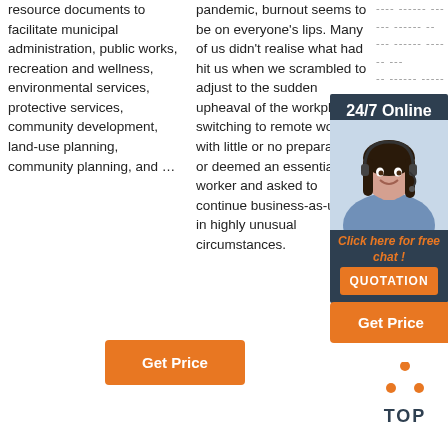resource documents to facilitate municipal administration, public works, recreation and wellness, environmental services, protective services, community development, land-use planning, community planning, and …
pandemic, burnout seems to be on everyone's lips. Many of us didn't realise what had hit us when we scrambled to adjust to the sudden upheaval of the workplace, switching to remote work with little or no preparation, or deemed an essential worker and asked to continue business-as-usual in highly unusual circumstances.
---- ------ ------ ------ -- --- ------ ------ --- -- ------ -------- ---- - ------- - ---- ------ --- ---- ---- --- ------- -- ----- --- --------- --- ---- ---- --- ---- -- -- -- --
[Figure (other): Advertisement panel with 24/7 Online label, customer service representative photo, Click here for free chat link, and QUOTATION button]
[Figure (other): Get Price orange button (right side)]
[Figure (other): TOP icon with orange dots forming triangle above TOP text]
[Figure (other): Get Price orange button (left column)]